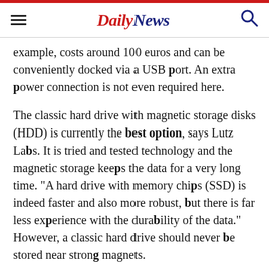Daily News
example, costs around 100 euros and can be conveniently docked via a USB port. An extra power connection is not even required here.
The classic hard drive with magnetic storage disks (HDD) is currently the best option, says Lutz Labs. It is tried and tested technology and the magnetic storage keeps the data for a very long time. "A hard drive with memory chips (SSD) is indeed faster and also more robust, but there is far less experience with the durability of the data." However, a classic hard drive should never be stored near strong magnets.
Another option is to backup to internet servers. "If you don't want to back up so much data, the cloud is also an option. However, backing up via the